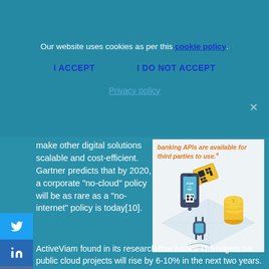Our website uses cookies as per this cookie policy
I ACCEPT
I DO NOT ACCEPT
Privacy policy
make other digital solutions scalable and cost-efficient. Gartner predicts that by 2020, a corporate “no-cloud” policy will be as rare as a “no-internet” policy is today[10]. ActiveViam found in its research that banks’ IT budgets for public cloud projects will rise by 6-10% in the next two years.
[Figure (illustration): Isometric illustration of digital banking/fintech: a smartphone with 'Scan to Pay' QR code, a smartwatch, a QR code card, stacks of gold coins, and WiFi/NFC waves on a white platform. Orange quote text above: 'banking APIs are available for third parties to use.']